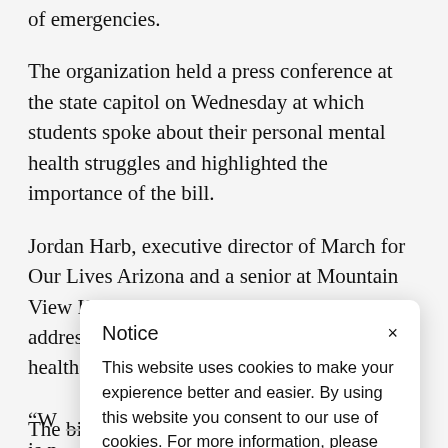of emergencies.
The organization held a press conference at the state capitol on Wednesday at which students spoke about their personal mental health struggles and highlighted the importance of the bill.
Jordan Harb, executive director of March for Our Lives Arizona and a senior at Mountain View High School, said the bill is meant to address student safety and especially mental health.
“W is n cor ins a p
[Figure (screenshot): Cookie consent notice popup overlay. Title: 'Notice' with an X close button. Body text: 'This website uses cookies to make your expierence better and easier. By using this website you consent to our use of cookies. For more information, please see our Cookie Policy.']
The bill has bipartisan support, with eight